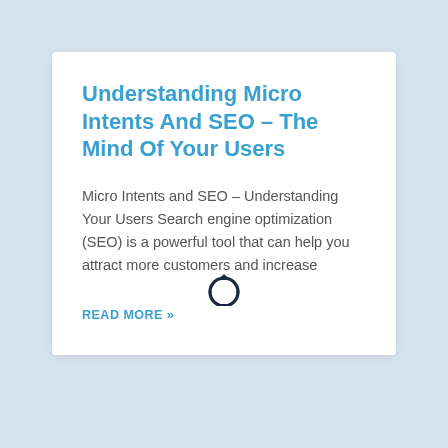Understanding Micro Intents And SEO – The Mind Of Your Users
Micro Intents and SEO – Understanding Your Users Search engine optimization (SEO) is a powerful tool that can help you attract more customers and increase
READ MORE »
[Figure (illustration): A circular refresh/sync arrows icon in dark navy color, centered below the card]